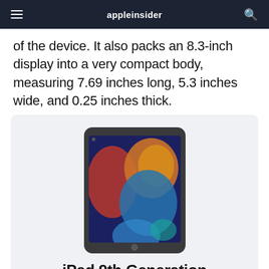appleinsider
of the device. It also packs an 8.3-inch display into a very compact body, measuring 7.69 inches long, 5.3 inches wide, and 0.25 inches thick.
[Figure (photo): iPad 9th Generation device photo showing a space gray iPad with colorful wallpaper (red, orange, yellow, blue shapes on dark background), displayed in portrait orientation]
iPad 9th Generation
Equipped with the A13 Bionic chip and a